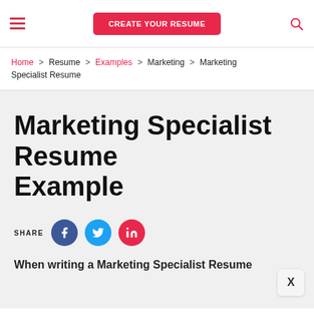CREATE YOUR RESUME
Home > Resume > Examples > Marketing > Marketing Specialist Resume
Marketing Specialist Resume Example
SHARE
When writing a Marketing Specialist Resume